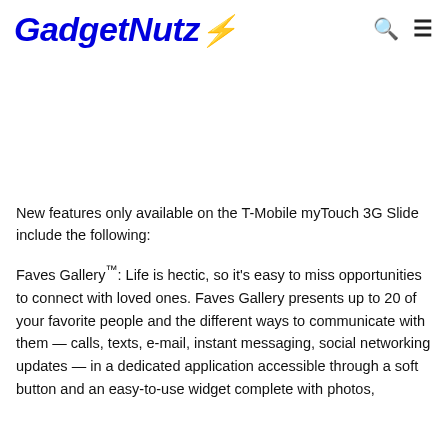GadgetNutz [logo with lightning bolt icon, search icon, menu icon]
New features only available on the T-Mobile myTouch 3G Slide include the following:
Faves Gallery™: Life is hectic, so it's easy to miss opportunities to connect with loved ones. Faves Gallery presents up to 20 of your favorite people and the different ways to communicate with them — calls, texts, e-mail, instant messaging, social networking updates — in a dedicated application accessible through a soft button and an easy-to-use widget complete with photos,